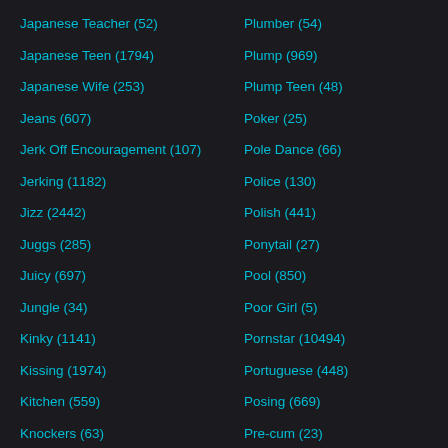Japanese Teacher (52)
Japanese Teen (1794)
Japanese Wife (253)
Jeans (607)
Jerk Off Encouragement (107)
Jerking (1182)
Jizz (2442)
Juggs (285)
Juicy (697)
Jungle (34)
Kinky (1141)
Kissing (1974)
Kitchen (559)
Knockers (63)
Korean (586)
Labia (61)
Plumber (54)
Plump (969)
Plump Teen (48)
Poker (25)
Pole Dance (66)
Police (130)
Polish (441)
Ponytail (27)
Pool (850)
Poor Girl (5)
Pornstar (10494)
Portuguese (448)
Posing (669)
Pre-cum (23)
Pregnant (737)
Pretty (1196)